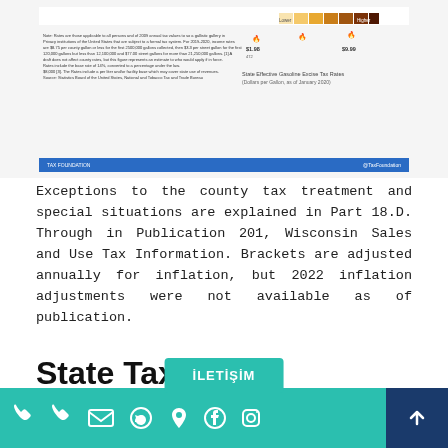[Figure (infographic): Tax Foundation infographic showing state gasoline tax rates by county, with a color scale legend from lower to higher rates and a blue footer bar with Tax Foundation branding.]
Exceptions to the county tax treatment and special situations are explained in Part 18.D. Through in Publication 201, Wisconsin Sales and Use Tax Information. Brackets are adjusted annually for inflation, but 2022 inflation adjustments were not available as of publication.
State Tax
For joint taxpayers, the deduction must be between $4,280 and $9,660. As of June 1, 2017, taxpayers cannot claim the personal exemption if their adjusted gross income exceeds $250,………00 .
İLETİŞİM — contact bar with phone, email, WhatsApp, location, Facebook, Instagram icons